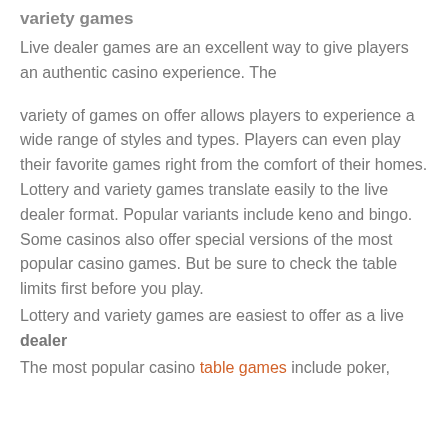variety games
Live dealer games are an excellent way to give players an authentic casino experience. The

variety of games on offer allows players to experience a wide range of styles and types. Players can even play their favorite games right from the comfort of their homes. Lottery and variety games translate easily to the live dealer format. Popular variants include keno and bingo. Some casinos also offer special versions of the most popular casino games. But be sure to check the table limits first before you play.
Lottery and variety games are easiest to offer as a live dealer
The most popular casino table games include poker,